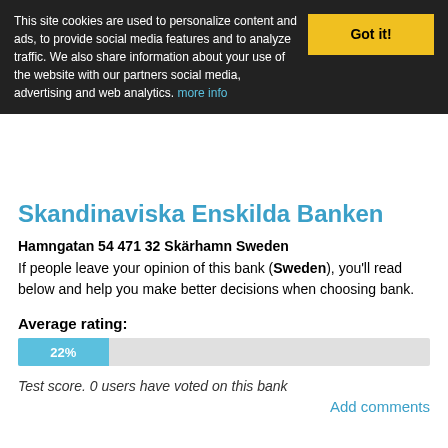This site cookies are used to personalize content and ads, to provide social media features and to analyze traffic. We also share information about your use of the website with our partners social media, advertising and web analytics. more info
Got it!
Skandinaviska Enskilda Banken
Hamngatan 54 471 32 Skärhamn Sweden
If people leave your opinion of this bank (Sweden), you'll read below and help you make better decisions when choosing bank.
Average rating:
[Figure (bar-chart): Average rating]
Test score. 0 users have voted on this bank
Add comments